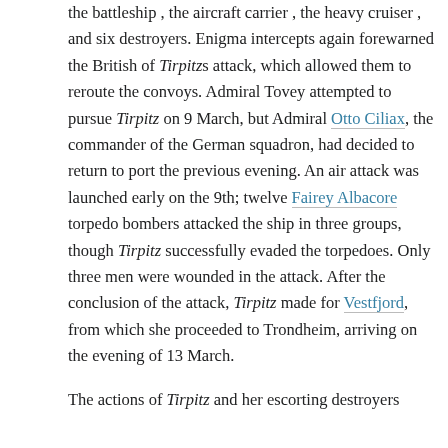the battleship , the aircraft carrier , the heavy cruiser , and six destroyers. Enigma intercepts again forewarned the British of Tirpitzs attack, which allowed them to reroute the convoys. Admiral Tovey attempted to pursue Tirpitz on 9 March, but Admiral Otto Ciliax, the commander of the German squadron, had decided to return to port the previous evening. An air attack was launched early on the 9th; twelve Fairey Albacore torpedo bombers attacked the ship in three groups, though Tirpitz successfully evaded the torpedoes. Only three men were wounded in the attack. After the conclusion of the attack, Tirpitz made for Vestfjord, from which she proceeded to Trondheim, arriving on the evening of 13 March.
The actions of Tirpitz and her escorting destroyers